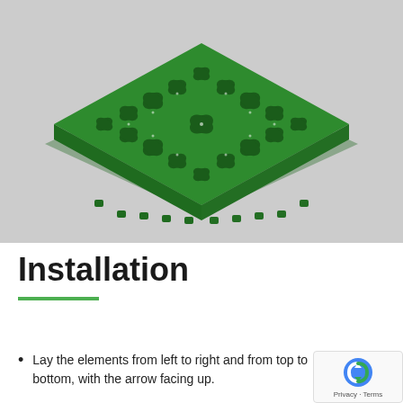[Figure (illustration): 3D rendering of a green plastic interlocking drainage tile panel viewed from an isometric perspective, with a grid of oval/leaf-shaped perforations and small connector nubs around the perimeter, set on a light gray background.]
Installation
Lay the elements from left to right and from top to bottom, with the arrow facing up.